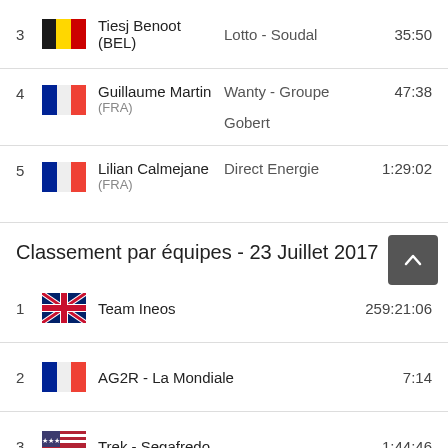| Rank | Flag | Name (Nat) | Team | Time |
| --- | --- | --- | --- | --- |
| 3 | BEL | Tiesj Benoot (BEL) | Lotto - Soudal | 35:50 |
| 4 | FRA | Guillaume Martin (FRA) | Wanty - Groupe Gobert | 47:38 |
| 5 | FRA | Lilian Calmejane (FRA) | Direct Energie | 1:29:02 |
Classement par équipes - 23 Juillet 2017
| Rank | Flag | Team | Time |
| --- | --- | --- | --- |
| 1 | GBR | Team Ineos | 259:21:06 |
| 2 | FRA | AG2R - La Mondiale | 7:14 |
| 3 | USA | Trek - Segafredo | 1:44:46 |
| 4 | USA | BMC Racing Team | 1:48:48 |